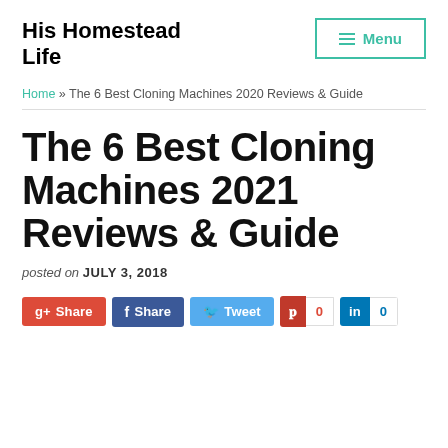His Homestead Life
Home » The 6 Best Cloning Machines 2020 Reviews & Guide
The 6 Best Cloning Machines 2021 Reviews & Guide
posted on JULY 3, 2018
g+ Share  f Share  Tweet  0  in  0